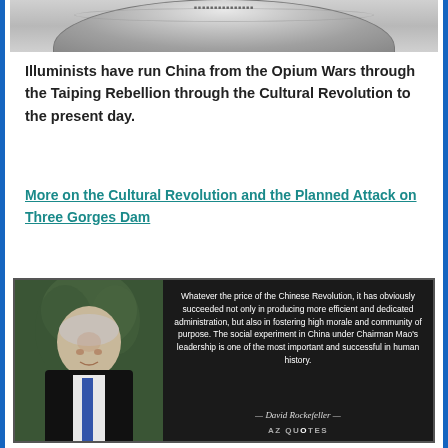[Figure (photo): Partial view of a coin or medallion, showing the bottom curved edge against a white background]
Illuminists have run China from the Opium Wars through the Taiping Rebellion through the Cultural Revolution to the present day.
More on the Cultural Revolution and the Planned Attack on Three Gorges Dam
[Figure (photo): Quote card with photo of elderly man (David Rockefeller) on the left against green foliage background, and on the right a dark background with white text quote: 'Whatever the price of the Chinese Revolution, it has obviously succeeded not only in producing more efficient and dedicated administration, but also in fostering high morale and community of purpose. The social experiment in China under Chairman Mao's leadership is one of the most important and successful in human history.' Attribution: David Rockefeller. AZ QUOTES logo at bottom.]